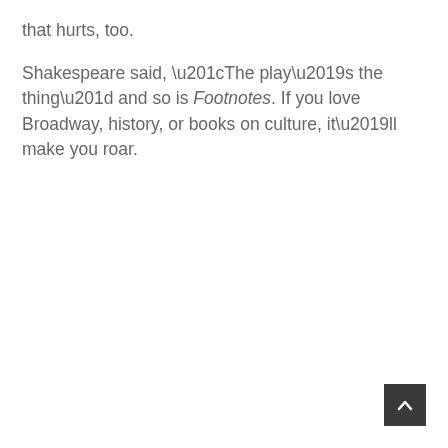that hurts, too.

Shakespeare said, “The play’s the thing” and so is Footnotes. If you love Broadway, history, or books on culture, it’ll make you roar.